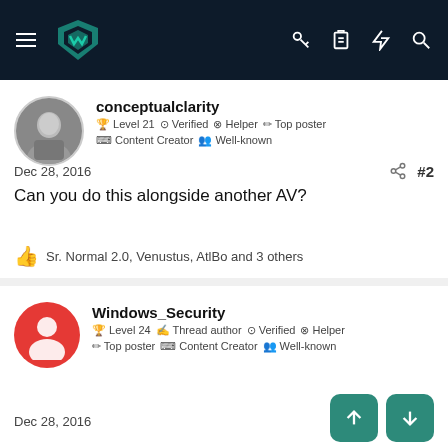Navigation bar with MalwareTips logo and icons
conceptualclarity
Level 21 Verified Helper Top poster
Content Creator Well-known
Dec 28, 2016
#2
Can you do this alongside another AV?
Sr. Normal 2.0, Venustus, AtlBo and 3 others
Windows_Security
Level 24 Thread author Verified Helper
Top poster Content Creator Well-known
Dec 28, 2016
#3